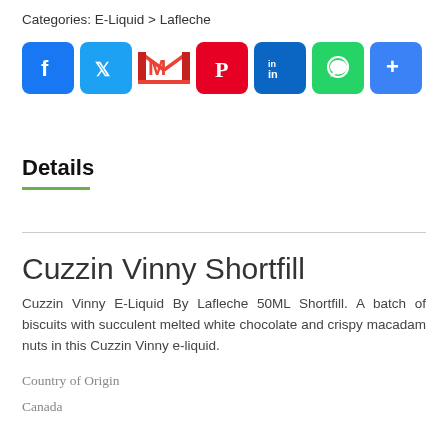Categories: E-Liquid > Lafleche
[Figure (other): Social sharing icons: Facebook, Twitter, Gmail, Pinterest, LinkedIn, WhatsApp, More]
Details
Cuzzin Vinny Shortfill
Cuzzin Vinny E-Liquid By Lafleche 50ML Shortfill. A batch of biscuits with succulent melted white chocolate and crispy macadam nuts in this Cuzzin Vinny e-liquid.
Country of Origin
Canada